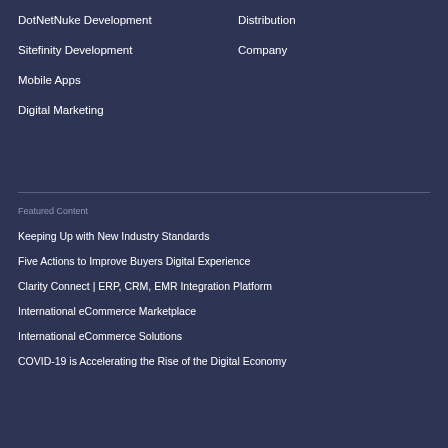DotNetNuke Development
Distribution
Sitefinity Development
Company
Mobile Apps
Digital Marketing
Featured Content
Keeping Up with New Industry Standards
Five Actions to Improve Buyers Digital Experience
Clarity Connect | ERP, CRM, EMR Integration Platform
International eCommerce Marketplace
International eCommerce Solutions
COVID-19 is Accelerating the Rise of the Digital Economy
Top Five Ways ERP Integrations Benefit Buyers